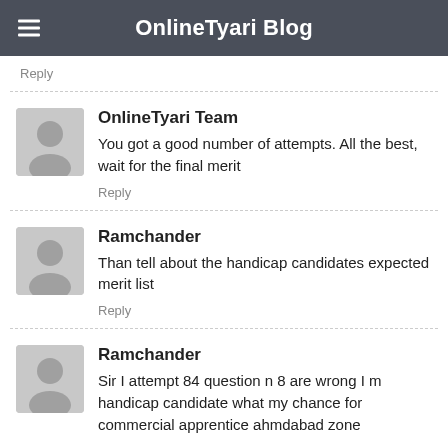OnlineTyari Blog
Reply
OnlineTyari Team
You got a good number of attempts. All the best, wait for the final merit
Reply
Ramchander
Than tell about the handicap candidates expected merit list
Reply
Ramchander
Sir I attempt 84 question n 8 are wrong I m handicap candidate what my chance for commercial apprentice ahmdabad zone